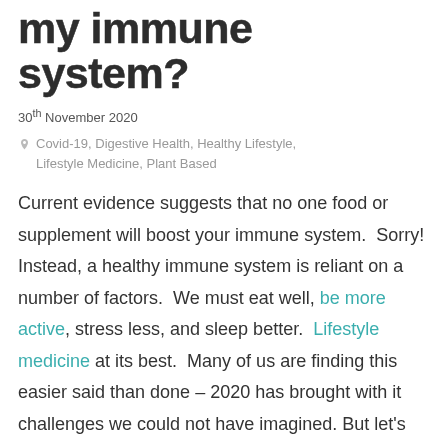my immune system?
30th November 2020
Covid-19, Digestive Health, Healthy Lifestyle, Lifestyle Medicine, Plant Based
Current evidence suggests that no one food or supplement will boost your immune system.  Sorry! Instead, a healthy immune system is reliant on a number of factors.  We must eat well, be more active, stress less, and sleep better.  Lifestyle medicine at its best.  Many of us are finding this easier said than done – 2020 has brought with it challenges we could not have imagined. But let's look at eating